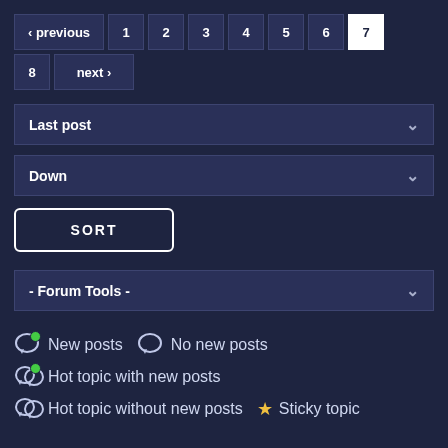‹ previous  1  2  3  4  5  6  7
8  next ›
Last post
Down
SORT
- Forum Tools -
New posts  No new posts
Hot topic with new posts
Hot topic without new posts  Sticky topic